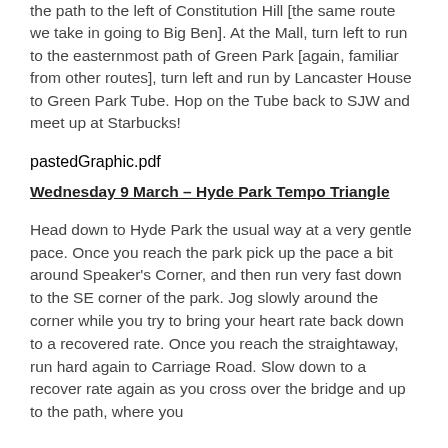the path to the left of Constitution Hill [the same route we take in going to Big Ben]. At the Mall, turn left to run to the easternmost path of Green Park [again, familiar from other routes], turn left and run by Lancaster House to Green Park Tube. Hop on the Tube back to SJW and meet up at Starbucks!
[Figure (other): Broken image placeholder labeled pastedGraphic.pdf]
Wednesday 9 March – Hyde Park Tempo Triangle
Head down to Hyde Park the usual way at a very gentle pace. Once you reach the park pick up the pace a bit around Speaker's Corner, and then run very fast down to the SE corner of the park. Jog slowly around the corner while you try to bring your heart rate back down to a recovered rate. Once you reach the straightaway, run hard again to Carriage Road. Slow down to a recover rate again as you cross over the bridge and up to the path, where you